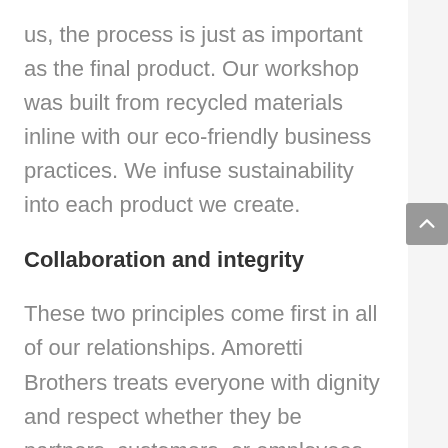us, the process is just as important as the final product. Our workshop was built from recycled materials inline with our eco-friendly business practices. We infuse sustainability into each product we create.
Collaboration and integrity
These two principles come first in all of our relationships. Amoretti Brothers treats everyone with dignity and respect whether they be partners, customers, or employees. We believe that close collaboration and honesty bring the best results for everyone involved.